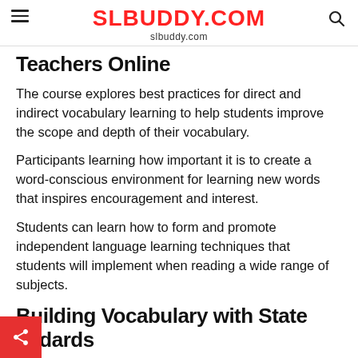SLBUDDY.COM
slbuddy.com
Teachers Online
The course explores best practices for direct and indirect vocabulary learning to help students improve the scope and depth of their vocabulary.
Participants learning how important it is to create a word-conscious environment for learning new words that inspires encouragement and interest.
Students can learn how to form and promote independent language learning techniques that students will implement when reading a wide range of subjects.
Building Vocabulary with State Standards